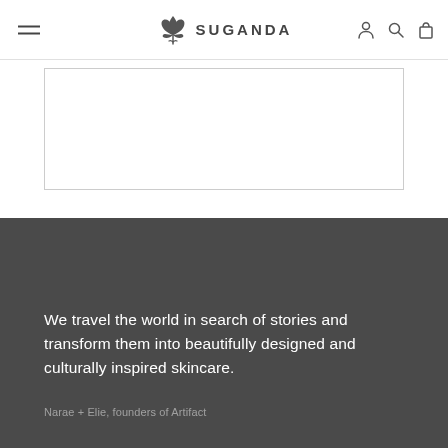SUGANDA
[Figure (other): White rectangular content box with border]
We travel the world in search of stories and transform them into beautifully designed and culturally inspired skincare.
Narae + Elie, founders of Artifact